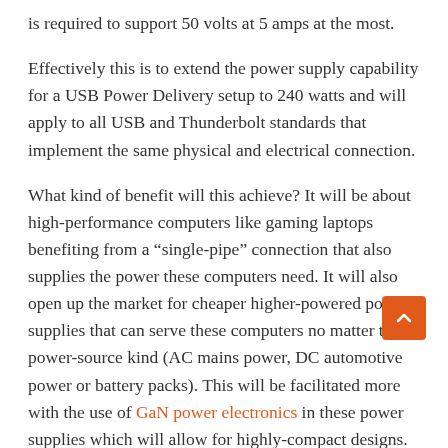is required to support 50 volts at 5 amps at the most.
Effectively this is to extend the power supply capability for a USB Power Delivery setup to 240 watts and will apply to all USB and Thunderbolt standards that implement the same physical and electrical connection.
What kind of benefit will this achieve? It will be about high-performance computers like gaming laptops benefiting from a “single-pipe” connection that also supplies the power these computers need. It will also open up the market for cheaper higher-powered power supplies that can serve these computers no matter the power-source kind (AC mains power, DC automotive power or battery packs). This will be facilitated more with the use of GaN power electronics in these power supplies which will allow for highly-compact designs.
Some also see the idea of the USB Extended Power Range cables being able to power computing peripherals like 4K